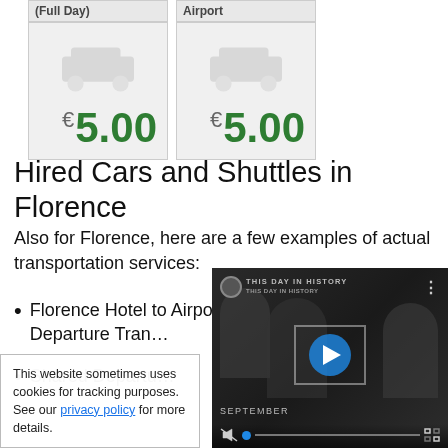[Figure (other): Two pricing cards showing car icons with '€5.00' prices for Full Day and Airport categories]
Hired Cars and Shuttles in Florence
Also for Florence, here are a few examples of actual transportation services:
Florence Hotel to Airport: Shared Departure Tran...
Shared Departu...
[Figure (other): Cookie consent banner: This website sometimes uses cookies for tracking purposes. See our privacy policy for more details.]
[Figure (other): Video overlay showing 'THIS DAY IN HISTORY' with play button, September label, mute icon, progress bar and fullscreen icon]